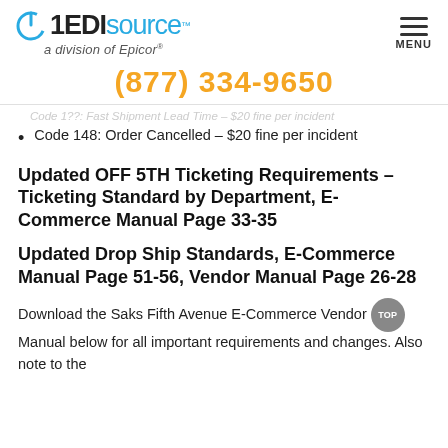1EDISource a division of Epicor — MENU
(877) 334-9650
Code 1??: Fast Shipment Lead Time – $20 fine per incident
Code 148: Order Cancelled – $20 fine per incident
Updated OFF 5TH Ticketing Requirements – Ticketing Standard by Department, E-Commerce Manual Page 33-35
Updated Drop Ship Standards, E-Commerce Manual Page 51-56, Vendor Manual Page 26-28
Download the Saks Fifth Avenue E-Commerce Vendor Manual below for all important requirements and changes. Also note to the